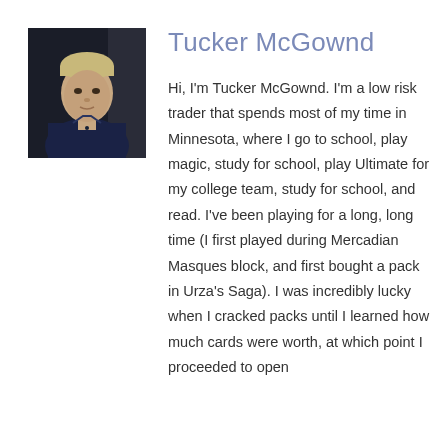[Figure (photo): Headshot photo of Tucker McGownd, a young man with light hair wearing a dark navy blue shirt, photographed from the shoulders up against a dark background.]
Tucker McGownd
Hi, I'm Tucker McGownd. I'm a low risk trader that spends most of my time in Minnesota, where I go to school, play magic, study for school, play Ultimate for my college team, study for school, and read. I've been playing for a long, long time (I first played during Mercadian Masques block, and first bought a pack in Urza's Saga). I was incredibly lucky when I cracked packs until I learned how much cards were worth, at which point I proceeded to open